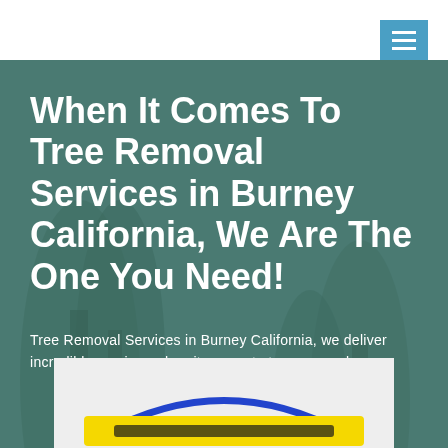[Figure (screenshot): Website header with white top bar and blue hamburger menu button]
When It Comes To Tree Removal Services in Burney California, We Are The One You Need!
Tree Removal Services in Burney California, we deliver incredible services when it comes to tree removal
[Figure (logo): Company logo with blue circular arc and yellow banner at bottom, partially visible]